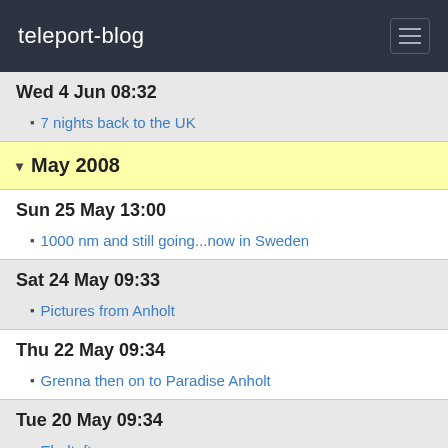teleport-blog
Wed 4 Jun 08:32
7 nights back to the UK
May 2008
Sun 25 May 13:00
1000 nm and still going...now in Sweden
Sat 24 May 09:33
Pictures from Anholt
Thu 22 May 09:34
Grenna then on to Paradise Anholt
Tue 20 May 09:34
Ebeltoft
Sun 18 May 06:33
Another Fjord in Denmark
Wed 14 May 07:55
Abenro Fjord in Denmark